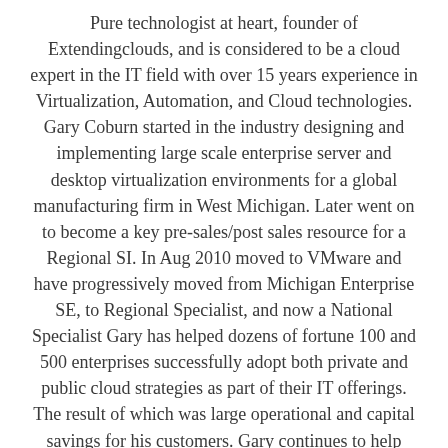Pure technologist at heart, founder of Extendingclouds, and is considered to be a cloud expert in the IT field with over 15 years experience in Virtualization, Automation, and Cloud technologies. Gary Coburn started in the industry designing and implementing large scale enterprise server and desktop virtualization environments for a global manufacturing firm in West Michigan. Later went on to become a key pre-sales/post sales resource for a Regional SI. In Aug 2010 moved to VMware and have progressively moved from Michigan Enterprise SE, to Regional Specialist, and now a National Specialist Gary has helped dozens of fortune 100 and 500 enterprises successfully adopt both private and public cloud strategies as part of their IT offerings. The result of which was large operational and capital savings for his customers. Gary continues to help large enterprise customers reach their hybrid cloud strategies at